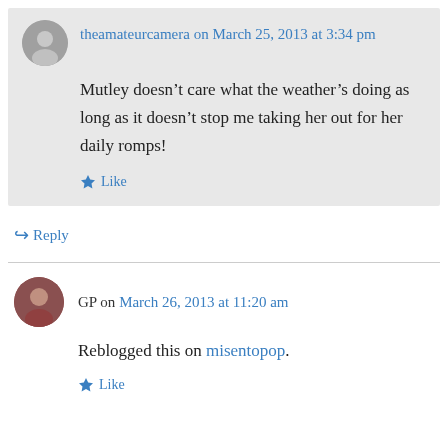theamateurcamera on March 25, 2013 at 3:34 pm
Mutley doesn't care what the weather's doing as long as it doesn't stop me taking her out for her daily romps!
Like
Reply
GP on March 26, 2013 at 11:20 am
Reblogged this on misentopop.
Like